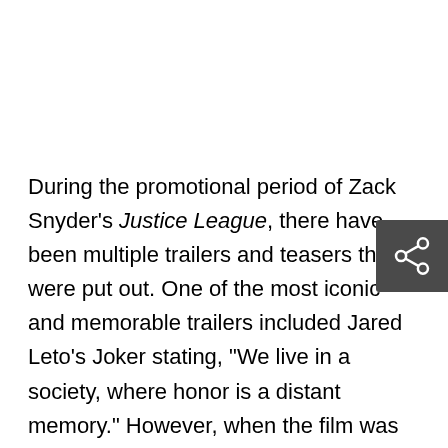During the promotional period of Zack Snyder's Justice League, there have been multiple trailers and teasers that were put out. One of the most iconic and memorable trailers included Jared Leto's Joker stating, "We live in a society, where honor is a distant memory." However, when the film was released on HBO Max, the iconic line was nowhere to be seen.